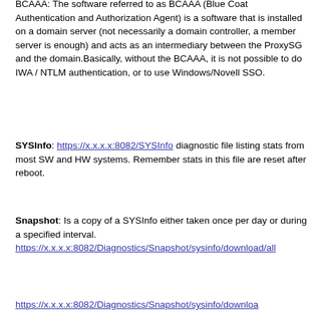BCAAA: The software referred to as BCAAA (Blue Coat Authentication and Authorization Agent) is a software that is installed on a domain server (not necessarily a domain controller, a member server is enough) and acts as an intermediary between the ProxySG and the domain.Basically, without the BCAAA, it is not possible to do IWA / NTLM authentication, or to use Windows/Novell SSO.
SYSInfo: https://x.x.x.x:8082/SYSInfo diagnostic file listing stats from most SW and HW systems. Remember stats in this file are reset after reboot.
Snapshot: Is a copy of a SYSInfo either taken once per day or during a specified interval. https://x.x.x.x:8082/Diagnostics/Snapshot/sysinfo/download/all
https://x.x.x.x:8082/Diagnostics/Snapshot/sysinfo/downloa